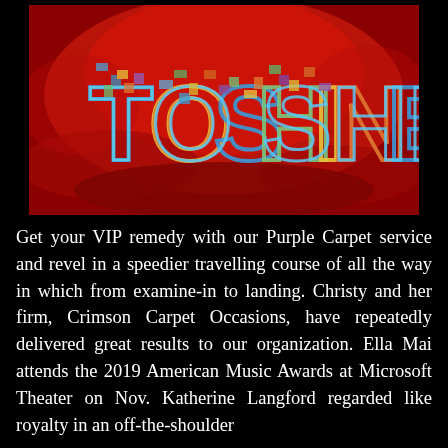[Figure (illustration): Red watercolor background with colorful mosaic-style text reading 'TO SHINE' in large decorative letters filled with multicolored patterns (blue, green, yellow, orange)]
Get your VIP remedy with our Purple Carpet service and revel in a speedier travelling course of all the way in which from examine-in to landing. Christy and her firm, Crimson Carpet Occasions, have repeatedly delivered great results to our organization. Ella Mai attends the 2019 American Music Awards at Microsoft Theater on Nov. Katherine Langford regarded like royalty in an off-the-shoulder